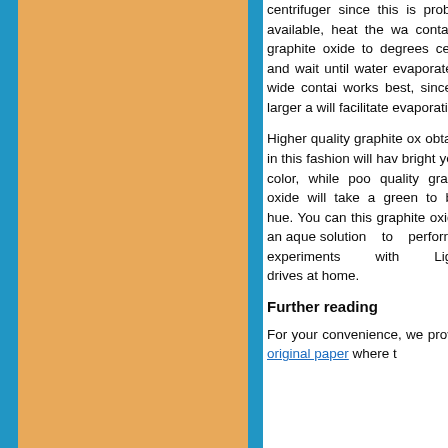centrifuger since this is prob not available, heat the wa containing graphite oxide to degrees celsius and wait until water evaporates. A wide contai works best, since the larger a will facilitate evaporation.
Higher quality graphite ox obtained in this fashion will hav bright yellow color, while poo quality graphite oxide will take a green to black hue. You can this graphite oxide in an aque solution to perform y experiments with Lightsc drives at home.
Further reading
For your convenience, we prov the original paper where t